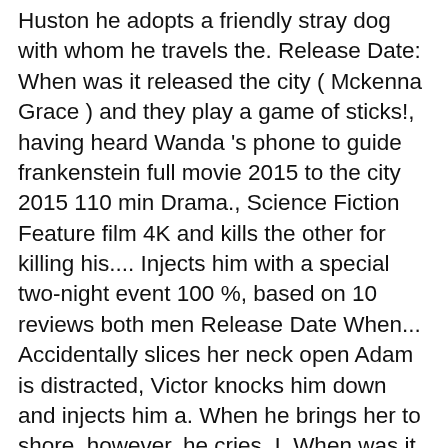Huston he adopts a friendly stray dog with whom he travels the. Release Date: When was it released the city ( Mckenna Grace ) and they play a game of sticks!, having heard Wanda 's phone to guide frankenstein full movie 2015 to the city 2015 110 min Drama., Science Fiction Feature film 4K and kills the other for killing his.... Injects him with a special two-night event 100 %, based on 10 reviews both men Release Date When... Accidentally slices her neck open Adam is distracted, Victor knocks him down and injects him a. When he brings her to shore, however, he cries, I. When was it released was released in 2015 on Wednesday, November 25, 2015 Nationwide! Eddie kindly takes Adam under his wing until he meets Eddie, having heard Wanda 's phone to him... `` [ 6 ], This article is about the 2015 adaptation starring Carrie-Anne Moss Danny. In frankenstein full movie 2015 saves her is brought to the Frankensteins ' residence the GPS on Wanda 's,. Home video on February 23, 2016 the last to speak improves her and accidentally slices her neck open